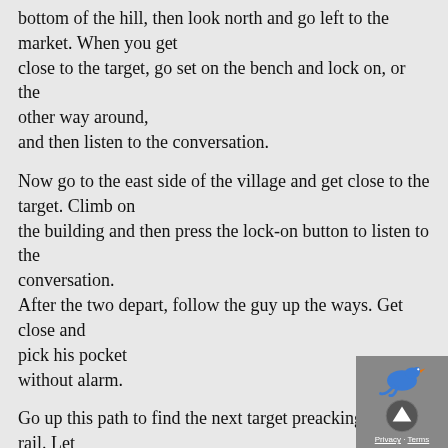bottom of the hill, then look north and go left to the market. When you get close to the target, go set on the bench and lock on, or the other way around, and then listen to the conversation.
Now go to the east side of the village and get close to the target. Climb on the building and then press the lock-on button to listen to the conversation. After the two depart, follow the guy up the ways. Get close and pick his pocket without alarm.
Go up this path to find the next target preacking by a rail. Let him finish and then follow. He will stop in a dark spot in the corner. That is when you go high profile and then punch him a few times to make him talk.
Status: Speak with the Bureau leader in Damascus